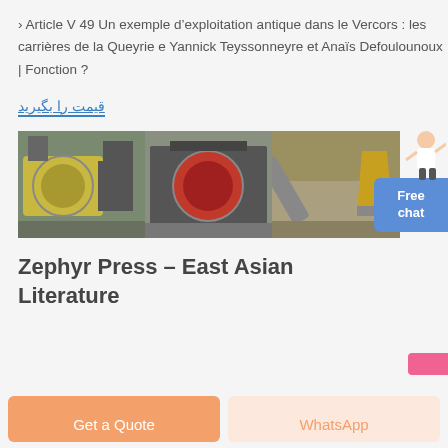› Article V 49 Un exemple d'exploitation antique dans le Vercors : les carrières de la Queyrie e Yannick Teyssonneyre et Anaïs Defoulounoux | Fonction ?
قیمت را بگیرید
[Figure (photo): Three industrial mining/crushing equipment photos side by side: left shows a large yellow ball mill, center shows a jaw crusher with red flywheel, right shows a conveyor belt and cone crusher setup.]
Zephyr Press – East Asian Literature
Get a Quote
WhatsApp